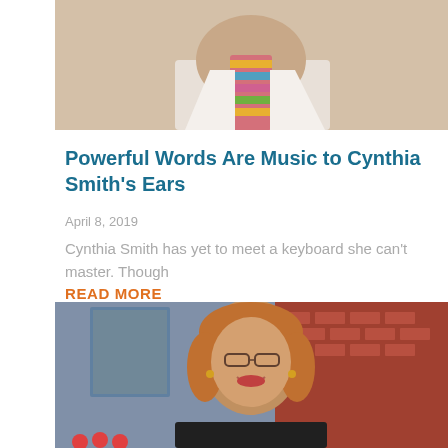[Figure (photo): Cropped photo showing the lower face and colorful collar/tie of a person wearing a white shirt]
Powerful Words Are Music to Cynthia Smith's Ears
April 8, 2019
Cynthia Smith has yet to meet a keyboard she can't master. Though
READ MORE
[Figure (photo): Portrait photo of a woman with glasses and reddish-blonde wavy hair, smiling, standing in front of a brick building]